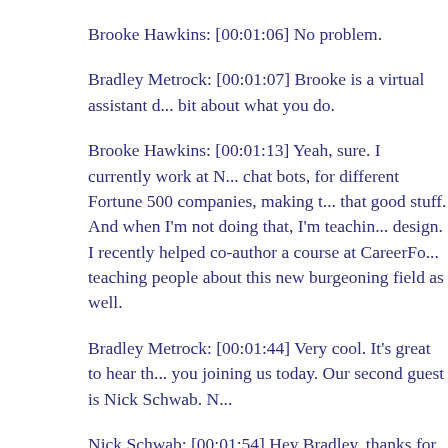Brooke Hawkins: [00:01:06] No problem.
Bradley Metrock: [00:01:07] Brooke is a virtual assistant d... bit about what you do.
Brooke Hawkins: [00:01:13] Yeah, sure. I currently work at N... chat bots, for different Fortune 500 companies, making t... that good stuff. And when I'm not doing that, I'm teachin... design. I recently helped co-author a course at CareerFo... teaching people about this new burgeoning field as well.
Bradley Metrock: [00:01:44] Very cool. It's great to hear th... you joining us today. Our second guest is Nick Schwab. N...
Nick Schwab: [00:01:54] Hey Bradley, thanks for having m...
Bradley Metrock: [00:01:56] Nick is a senior software engi... Apps, which is a leading developer of applications for Ale... about both universes that you live in there.
Nick Schwab: [00:02:11] Yes. It's basically two full time job... working on a platform that allows smart phone applicati... that the...